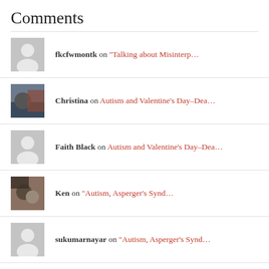Comments
fkcfwmontk on “Talking about Misinterp…
Christina on Autism and Valentine’s Day–Dea…
Faith Black on Autism and Valentine’s Day–Dea…
Ken on “Autism, Asperger’s Synd…
sukumarnayar on “Autism, Asperger’s Synd…
mrasperger on “Small Stuff to Big Stuf…
sukumarnayar on “Small Stuff to Big Stuf…